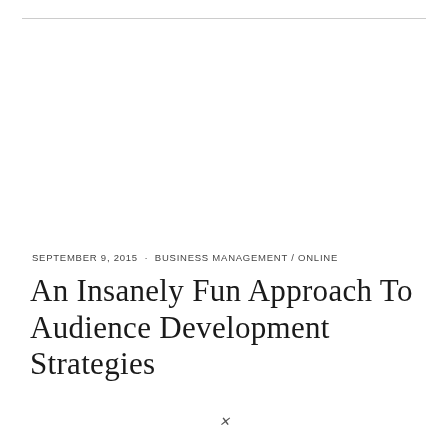SEPTEMBER 9, 2015  ·  BUSINESS MANAGEMENT / ONLINE
An Insanely Fun Approach To Audience Development Strategies